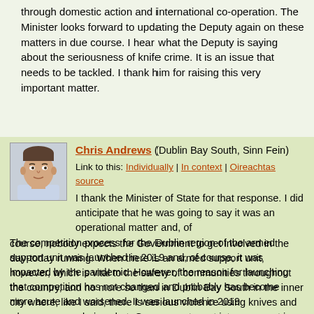through domestic action and international co-operation. The Minister looks forward to updating the Deputy again on these matters in due course. I hear what the Deputy is saying about the seriousness of knife crime. It is an issue that needs to be tackled. I thank him for raising this very important matter.
Chris Andrews (Dublin Bay South, Sinn Fein)
Link to this: Individually | In context | Oireachtas source
I thank the Minister of State for that response. I did anticipate that he was going to say it was an operational matter and, of course, nobody expects the Government to get involved in the day-today running. When there is an armed support unit, however, which is vital to the safety of communities throughout the country, and no more so than in Dublin Bay South in the inner city where, like I said, there is serious violence using knives and where guns are being shot, Government must intervene, not in how its personnel are trained or where they are deployed but to ensure it has enough resources. If it does not have enough resources, the gardaí cannot do their jobs properly and protect the communities they have been requested to protect.
The competition process for the Dublin region of the armed support unit was launched in 2019 and, of course, it was impacted by the pandemic. However, the reason for launching that competition has not changed and probably has become more acute and worsened. It was launched in 2019